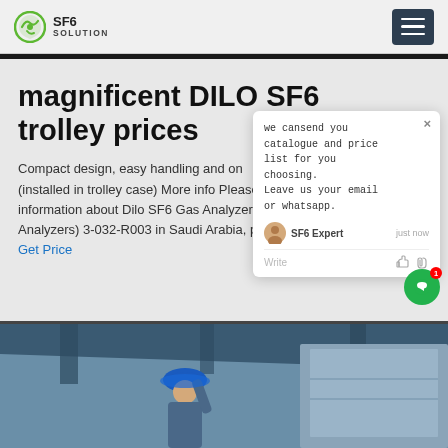SF6 SOLUTION
magnificent DILO SF6 trolley prices
Compact design, easy handling and (installed in trolley case) More info Please information about Dilo SF6 Gas Analyzers) 3-032-R003 in Saudi Arabia. Get Price
[Figure (screenshot): Chat popup widget with message: we can send you catalogue and price list for you choosing. Leave us your email or whatsapp. SF6 Expert just now. Write input row.]
[Figure (photo): Worker in blue hard hat inspecting industrial equipment, viewed from below at an angle.]